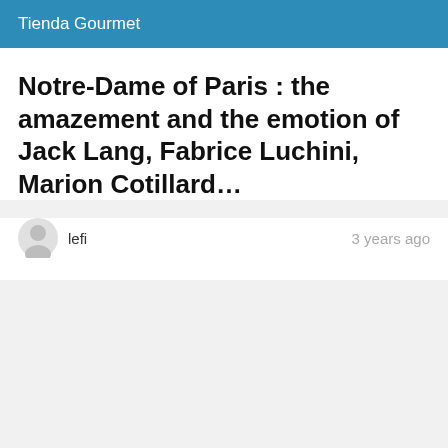Tienda Gourmet
Notre-Dame of Paris : the amazement and the emotion of Jack Lang, Fabrice Luchini, Marion Cotillard…
lefi   3 years ago